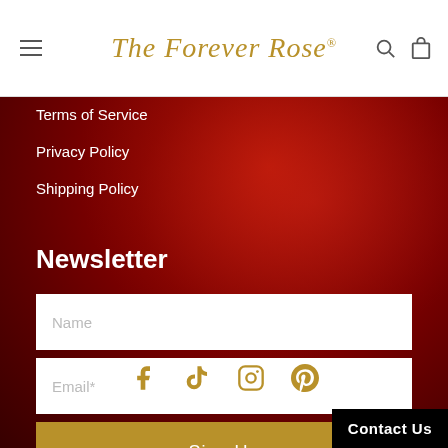The Forever Rose®
Terms of Service
Privacy Policy
Shipping Policy
Newsletter
Name
Email*
Sign Up
[Figure (infographic): Social media icons: Facebook, TikTok, Instagram, Pinterest in gold color]
Contact Us